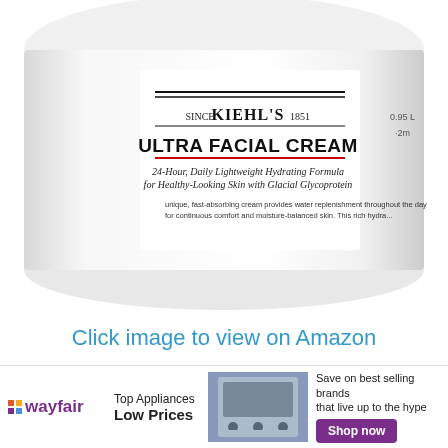[Figure (photo): Close-up product photo of Kiehl's Ultra Facial Cream jar, white container with label reading: SINCE KIEHL'S 1851, ULTRA FACIAL CREAM, 24-Hour Daily Lightweight Hydrating Formula for Healthy-Looking Skin with Glacial Glycoprotein. Description text partially visible: unique fast-absorbing cream provides water replenishment throughout the day for continuous comfort and moisture-balanced skin.]
Click image to view on Amazon
[Figure (infographic): Wayfair advertisement banner: Top Appliances Low Prices, Save on best selling brands that live up to the hype, Shop now button. Shows image of kitchen appliance/stove.]